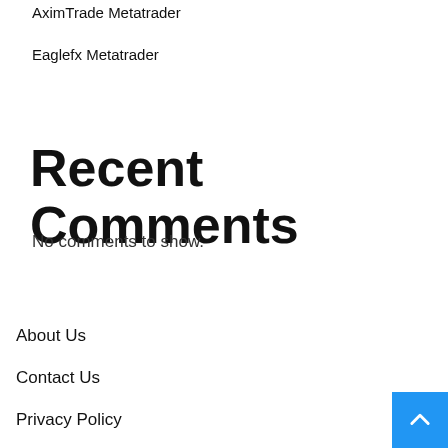AximTrade Metatrader
Eaglefx Metatrader
Recent Comments
No comments to show.
About Us
Contact Us
Privacy Policy